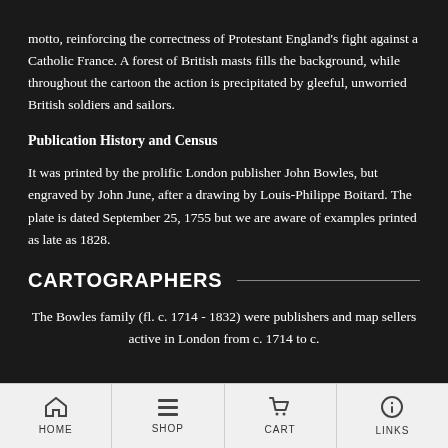motto, reinforcing the correctness of Protestant England's fight against a Catholic France. A forest of British masts fills the background, while throughout the cartoon the action is precipitated by gleeful, unworried British soldiers and sailors.
Publication History and Census
It was printed by the prolific London publisher John Bowles, but engraved by John June, after a drawing by Louis-Philippe Boitard. The plate is dated September 25, 1755 but we are aware of examples printed as late as 1828.
CARTOGRAPHERS
The Bowles family (fl. c. 1714 - 1832) were publishers and map sellers active in London from c. 1714 to c.
HOME   SHOP   CART   LINKS